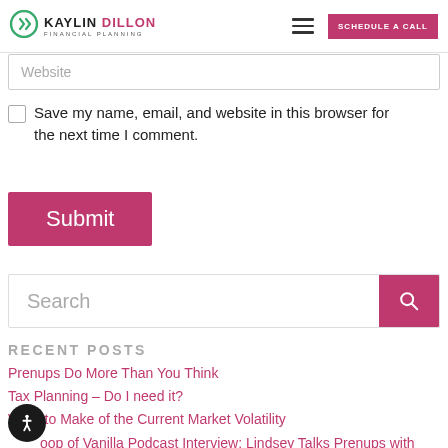Kaylin Dillon Financial Planning – header navigation with logo, hamburger menu, and Schedule a Call button
Website
Save my name, email, and website in this browser for the next time I comment.
Submit
Search
RECENT POSTS
Prenups Do More Than You Think
Tax Planning – Do I need it?
What to Make of the Current Market Volatility
oop of Vanilla Podcast Interview: Lindsey Talks Prenups with Kaylin Dillon